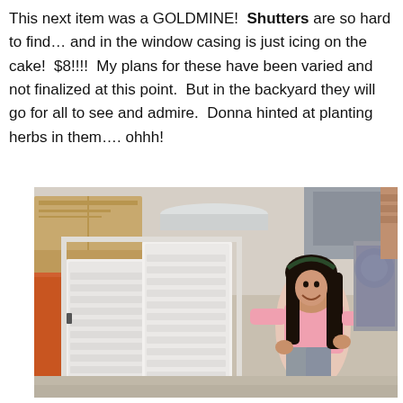This next item was a GOLDMINE!  Shutters are so hard to find… and in the window casing is just icing on the cake!  $8!!!!  My plans for these have been varied and not finalized at this point.  But in the backyard they will go for all to see and admire.  Donna hinted at planting herbs in them…. ohhh!
[Figure (photo): A young girl smiling beside large white plantation shutters in a window casing, surrounded by garage sale items including cardboard boxes and other items in the background.]